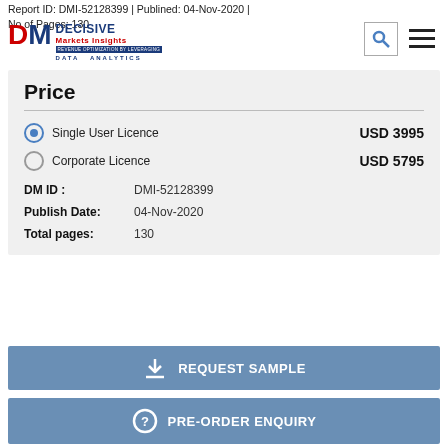Report ID: DMI-52128399 | Publined: 04-Nov-2020 | No of Pages: 130
[Figure (logo): Decisive Markets Insights logo with DM letters in red and blue, tagline REVENUE OPTIMIZATION BY LEVERAGING DATA ANALYTICS]
Price
Single User Licence   USD 3995
Corporate Licence   USD 5795
DM ID :   DMI-52128399
Publish Date:   04-Nov-2020
Total pages:   130
REQUEST SAMPLE
PRE-ORDER ENQUIRY